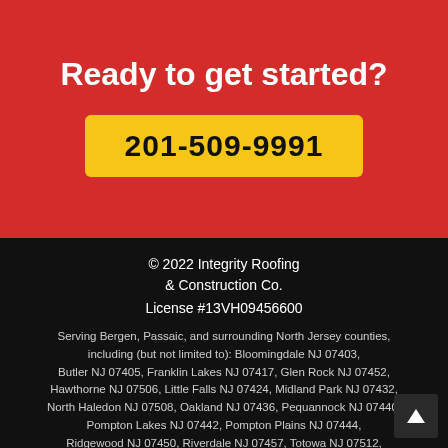Ready to get started?
201-509-9991
© 2022 Integrity Roofing & Construction Co.
License #13VH09456600
Serving Bergen, Passaic, and surrounding North Jersey counties, including (but not limited to): Bloomingdale NJ 07403, Butler NJ 07405, Franklin Lakes NJ 07417, Glen Rock NJ 07452, Hawthorne NJ 07506, Little Falls NJ 07424, Midland Park NJ 07432, North Haledon NJ 07508, Oakland NJ 07436, Pequannock NJ 07440, Pompton Lakes NJ 07442, Pompton Plains NJ 07444, Ridgewood NJ 07450, Riverdale NJ 07457, Totowa NJ 07512, Waldwick NJ 07463, Wanaque NJ 07465, Wayne NJ 07470